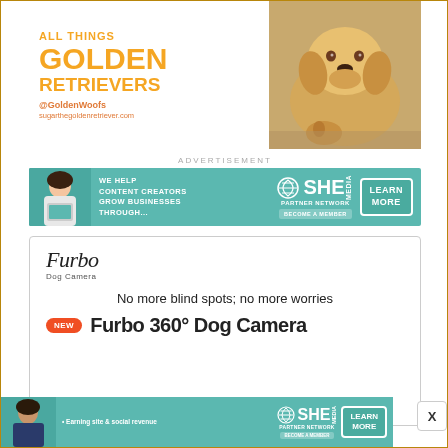[Figure (illustration): All Things Golden Retrievers banner with golden text on white background and golden retriever dog photo on right. Shows @GoldenWoofs and sugarthegoldenretriever.com]
ADVERTISEMENT
[Figure (advertisement): SHE Partner Network advertisement: WE HELP CONTENT CREATORS GROW BUSINESSES THROUGH... with LEARN MORE button and BECOME A MEMBER call to action]
[Figure (advertisement): Furbo Dog Camera advertisement: No more blind spots; no more worries. NEW Furbo 360° Dog Camera]
[Figure (advertisement): SHE Partner Network bottom banner: Earning site & social revenue, LEARN MORE button, BECOME A MEMBER]